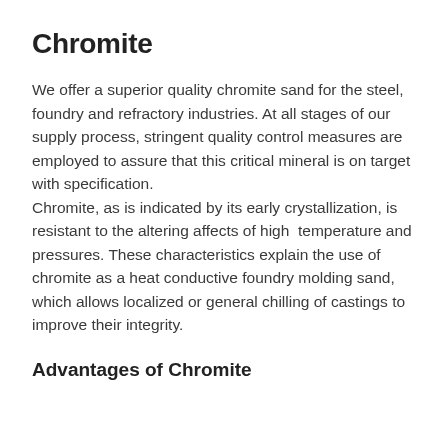Chromite
We offer a superior quality chromite sand for the steel, foundry and refractory industries. At all stages of our supply process, stringent quality control measures are employed to assure that this critical mineral is on target with specification.
Chromite, as is indicated by its early crystallization, is resistant to the altering affects of high  temperature and pressures. These characteristics explain the use of chromite as a heat conductive foundry molding sand, which allows localized or general chilling of castings to improve their integrity.
Advantages of Chromite